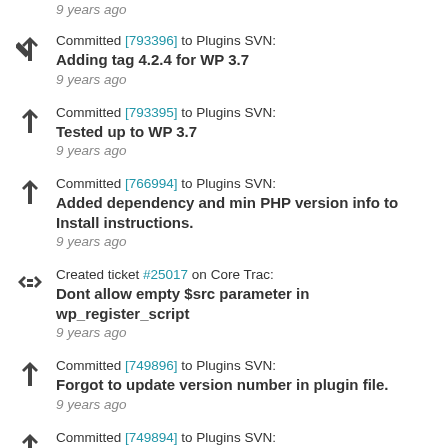9 years ago
Committed [793396] to Plugins SVN: Adding tag 4.2.4 for WP 3.7 — 9 years ago
Committed [793395] to Plugins SVN: Tested up to WP 3.7 — 9 years ago
Committed [766994] to Plugins SVN: Added dependency and min PHP version info to Install instructions. — 9 years ago
Created ticket #25017 on Core Trac: Dont allow empty $src parameter in wp_register_script — 9 years ago
Committed [749896] to Plugins SVN: Forgot to update version number in plugin file. — 9 years ago
Committed [749894] to Plugins SVN: